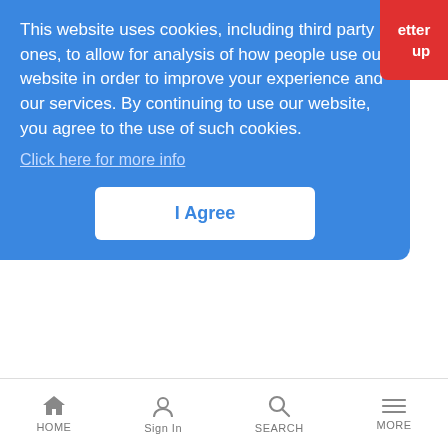[Figure (screenshot): Cookie consent banner overlay with blue background showing cookie policy text, a 'Click here for more info' link, and an 'I Agree' button]
winning streak for the CRS-1
Comcast, TWC Won't Bid in Wireless Auction
LR Cable News Analysis | 12/3/2007
MSOs say they won't join the 700 MHz frenzy, but have yet to outline what they plan to do with already won Advanced Wireless Spectrum
HOME  Sign In  SEARCH  MORE